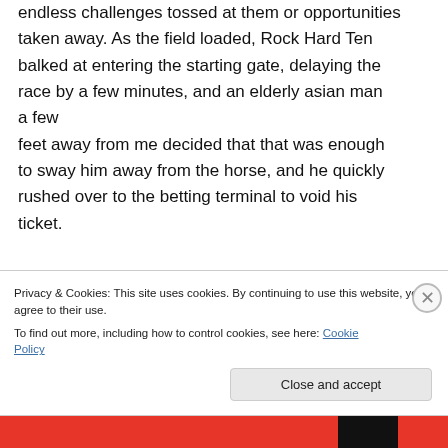endless challenges tossed at them or opportunities taken away. As the field loaded, Rock Hard Ten balked at entering the starting gate, delaying the race by a few minutes, and an elderly asian man a few feet away from me decided that that was enough to sway him away from the horse, and he quickly rushed over to the betting terminal to void his ticket.
Like
Privacy & Cookies: This site uses cookies. By continuing to use this website, you agree to their use. To find out more, including how to control cookies, see here: Cookie Policy
Close and accept